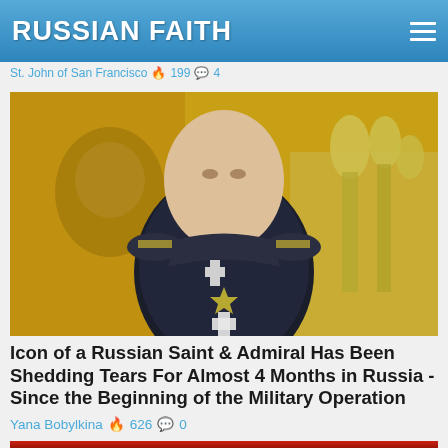RUSSIAN FAITH
St. John of San Francisco 🔥 199 💬 4
[Figure (photo): Portrait of a Russian saint and admiral in military uniform with medals against a yellow background with Orthodox church onion domes and an icon of a saint]
Icon of a Russian Saint & Admiral Has Been Shedding Tears For Almost 4 Months in Russia - Since the Beginning of the Military Operation
Yana Bobylkina 🔥 626 💬 0